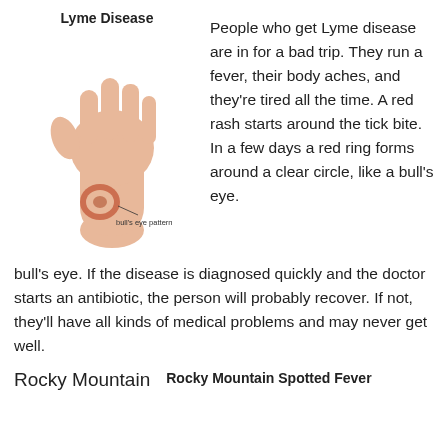Lyme Disease
[Figure (illustration): Illustration of a human hand and forearm showing a bull's eye rash pattern on the wrist, with a label pointing to it reading 'bull's eye pattern'.]
People who get Lyme disease are in for a bad trip. They run a fever, their body aches, and they're tired all the time. A red rash starts around the tick bite. In a few days a red ring forms around a clear circle, like a bull's eye. If the disease is diagnosed quickly and the doctor starts an antibiotic, the person will probably recover. If not, they'll have all kinds of medical problems and may never get well.
Rocky Mountain
Rocky Mountain Spotted Fever